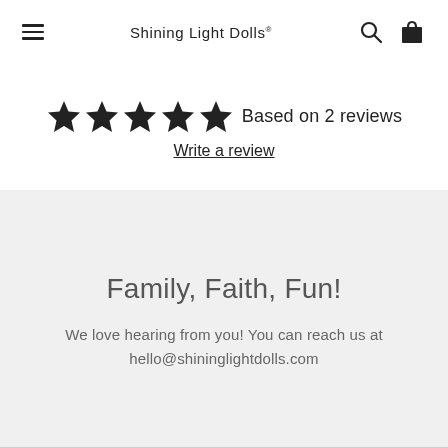Shining Light Dolls®
★★★★★ Based on 2 reviews
Write a review
Family, Faith, Fun!
We love hearing from you! You can reach us at hello@shininglightdolls.com